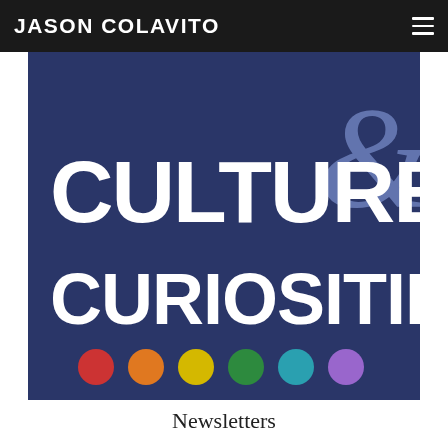JASON COLAVITO
[Figure (illustration): Banner image for 'Culture & Curiosities' newsletter on dark navy blue background with large white bold text reading 'CULTURE & CURIOSITIES', a decorative ampersand in light purple, and six colored circles (red, orange, yellow, green, teal, purple) at the bottom.]
Newsletters
Enter your email below to subscribe to my newsletter, The Skeptical Xenoarchaeologist, for updates on my latest projects